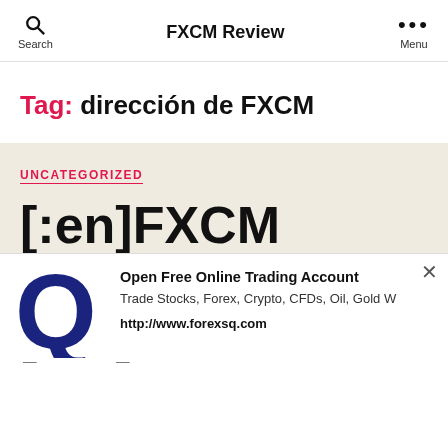Search | FXCM Review | Menu
Tag: dirección de FXCM
UNCATEGORIZED
[:en]FXCM Group[:de]FXCM
[Figure (other): Ad popup overlay: large blue Q logo on left, text 'Open Free Online Trading Account', 'Trade Stocks, Forex, Crypto, CFDs, Oil, Gold W', 'http://www.forexsq.com', with close X button top right]